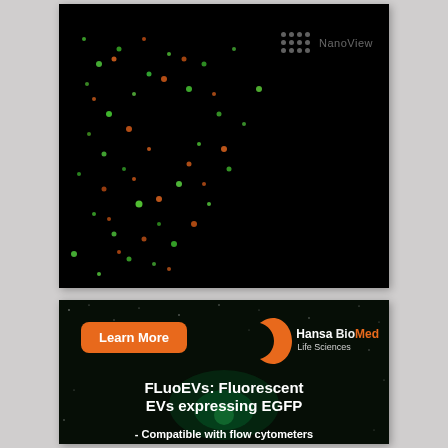[Figure (photo): Dark-field fluorescence microscopy image showing scattered fluorescent particles (green and orange/red dots) on a black background. A NanoView watermark appears in the upper right corner with a dotted grid logo.]
[Figure (infographic): Advertisement panel for HansaBioMed Life Sciences featuring FLuoEVs: Fluorescent EVs expressing EGFP. Contains an orange 'Learn More' button, HansaBioMed Life Sciences logo with orange crescent, and text about compatibility with flow cytometers. Dark space-like background with green glow effect.]